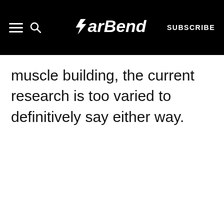BarBend | SUBSCRIBE
muscle building, the current research is too varied to definitively say either way.